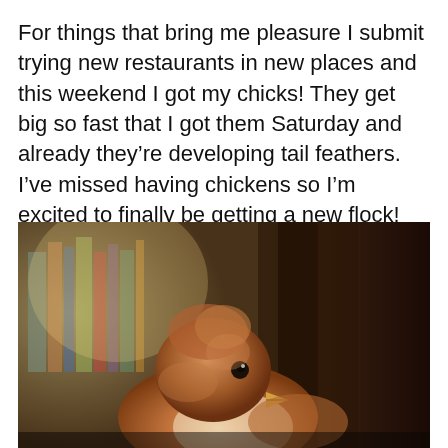For things that bring me pleasure I submit trying new restaurants in new places and this weekend I got my chicks! They get big so fast that I got them Saturday and already they're developing tail feathers. I've missed having chickens so I'm excited to finally be getting a new flock!
[Figure (photo): A close-up photograph of a small brown baby chick with soft fluffy feathers, a small beak visible, with a blurred background showing bookshelves with colorful books and warm lighting.]